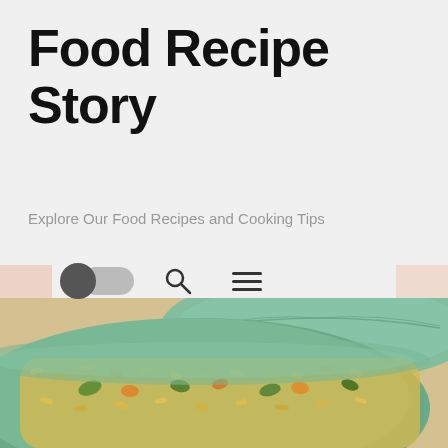Food Recipe Story
Explore Our Food Recipes and Cooking Tips
[Figure (screenshot): Navigation bar with toggle switch, search icon, and hamburger menu icon on light gray background]
PREVIOUS POST
NEXT POST
[Figure (photo): Close-up photo of a green ceramic bowl filled with fried rice mixed with vegetables including green peppers and orange carrots, placed on a wooden surface with another green leaf-shaped plate visible]